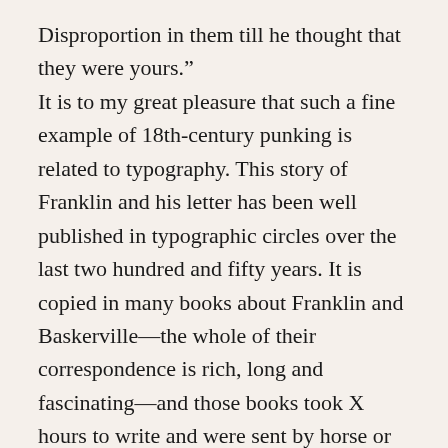Disproportion in them till he thought that they were yours.”
It is to my great pleasure that such a fine example of 18th-century punking is related to typography. This story of Franklin and his letter has been well published in typographic circles over the last two hundred and fifty years. It is copied in many books about Franklin and Baskerville—the whole of their correspondence is rich, long and fascinating—and those books took X hours to write and were sent by horse or truck or train or plane to the power of Y copies. Thinking back on these fine people, what’s amazing to me is that the potential formula for the speed of distribution for this humble column on this lovely website outstrips all of those previous to a